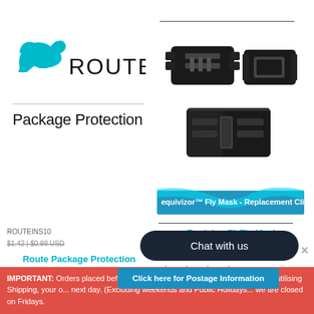[Figure (logo): Route Package Protection logo with teal swoosh icon and 'ROUTE' text]
Package Protection
[Figure (photo): Product photo of Equivizor Fly Mask Replacement Clips - black plastic buckle clips shown from multiple angles]
[Figure (screenshot): Equivizor Fly Mask - Replacement Clips product listing screenshot with teal highlight]
Route Package Protection
Equivizor™ Fly Mask Replacement Clips
[Figure (other): 4 gold/yellow star rating icons]
IMPORTANT: Orders placed before 11:30am ...Post are posted same day. If utilising Shipping, your o... next day. (Excluding weekends and Public Holidays... we are closed on Fridays.
ROUTEINS10
$1.42 | $0.98 USD
Chat with us
Click here for Postage Information